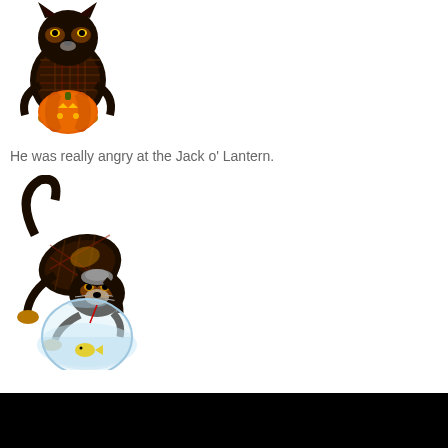[Figure (illustration): Cartoon black cat wearing a plaid vest, holding a glowing jack-o-lantern pumpkin]
He was really angry at the Jack o' Lantern.
[Figure (illustration): Cartoon black cat wearing a plaid vest, arching its back angrily, peering into a fishbowl with a fish inside]